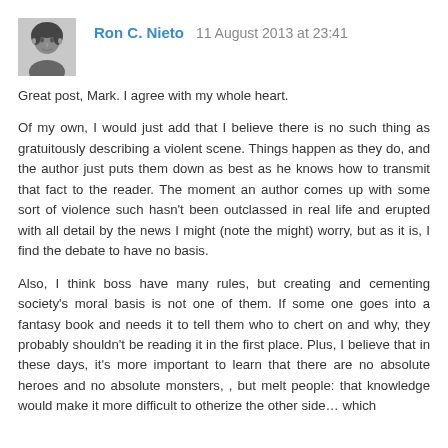Ron C. Nieto  11 August 2013 at 23:41
Great post, Mark. I agree with my whole heart.
Of my own, I would just add that I believe there is no such thing as gratuitously describing a violent scene. Things happen as they do, and the author just puts them down as best as he knows how to transmit that fact to the reader. The moment an author comes up with some sort of violence such hasn't been outclassed in real life and erupted with all detail by the news I might (note the might) worry, but as it is, I find the debate to have no basis.
Also, I think boss have many rules, but creating and cementing society's moral basis is not one of them. If some one goes into a fantasy book and needs it to tell them who to chert on and why, they probably shouldn't be reading it in the first place. Plus, I believe that in these days, it's more important to learn that there are no absolute heroes and no absolute monsters, , but melt people: that knowledge would make it more difficult to otherize the other side… which